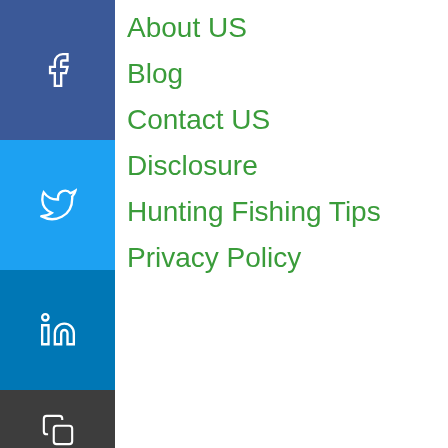About US
Blog
Contact US
Disclosure
Hunting Fishing Tips
Privacy Policy
[Figure (infographic): Social share sidebar with Facebook, Twitter, LinkedIn, Copy, and More (+) icons]
HuntingFishingGuru is a participant in the Amazon Services LLC Associates Program, an affiliate advertising program designed to provide a means for us to earn fees by linking to Amazon.com and affiliated sites. ©2021 HuntingFishingGuru